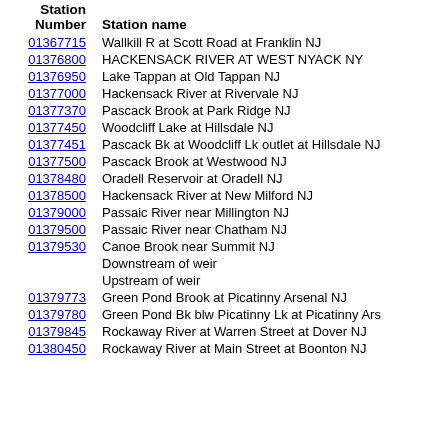| Station Number | Station name |
| --- | --- |
| 01367715 | Wallkill R at Scott Road at Franklin NJ |
| 01376800 | HACKENSACK RIVER AT WEST NYACK NY |
| 01376950 | Lake Tappan at Old Tappan NJ |
| 01377000 | Hackensack River at Rivervale NJ |
| 01377370 | Pascack Brook at Park Ridge NJ |
| 01377450 | Woodcliff Lake at Hillsdale NJ |
| 01377451 | Pascack Bk at Woodcliff Lk outlet at Hillsdale NJ |
| 01377500 | Pascack Brook at Westwood NJ |
| 01378480 | Oradell Reservoir at Oradell NJ |
| 01378500 | Hackensack River at New Milford NJ |
| 01379000 | Passaic River near Millington NJ |
| 01379500 | Passaic River near Chatham NJ |
| 01379530 | Canoe Brook near Summit NJ |
|  | Downstream of weir |
|  | Upstream of weir |
| 01379773 | Green Pond Brook at Picatinny Arsenal NJ |
| 01379780 | Green Pond Bk blw Picatinny Lk at Picatinny Ars |
| 01379845 | Rockaway River at Warren Street at Dover NJ |
| 01380450 | Rockaway River at Main Street at Boonton NJ |